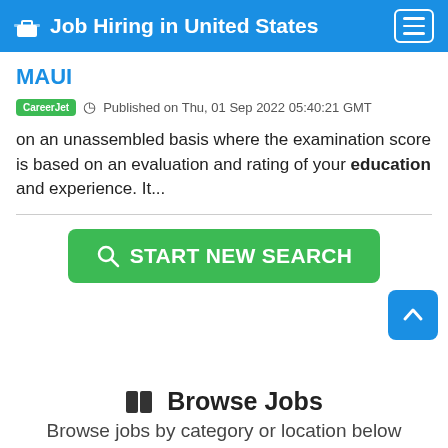Job Hiring in United States
MAUI
CareerJet  Published on Thu, 01 Sep 2022 05:40:21 GMT
on an unassembled basis where the examination score is based on an evaluation and rating of your education and experience. It...
[Figure (other): Green button labeled START NEW SEARCH with a magnifying glass icon]
[Figure (other): Blue scroll-to-top button with upward arrow]
Browse Jobs
Browse jobs by category or location below